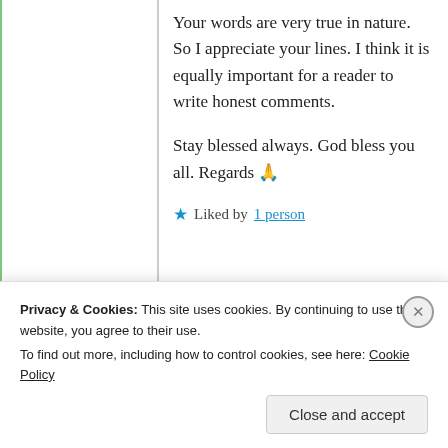Your words are very true in nature. So I appreciate your lines. I think it is equally important for a reader to write honest comments. Stay blessed always. God bless you all. Regards 🙏
★ Liked by 1 person
Advertisements
Privacy & Cookies: This site uses cookies. By continuing to use this website, you agree to their use. To find out more, including how to control cookies, see here: Cookie Policy
Close and accept